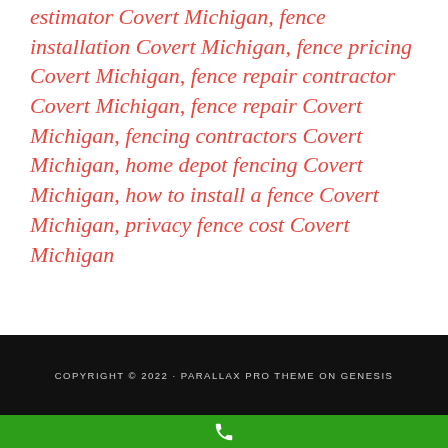estimator Covert Michigan, fence installation Covert Michigan, fence pricing Covert Michigan, fence repair contractor Covert Michigan, fence repair Covert Michigan, fencing contractors Covert Michigan, home depot fencing Covert Michigan, how to install a fence Covert Michigan, privacy fence cost Covert Michigan
COPYRIGHT © 2022 · PARALLAX PRO THEME ON GENESIS